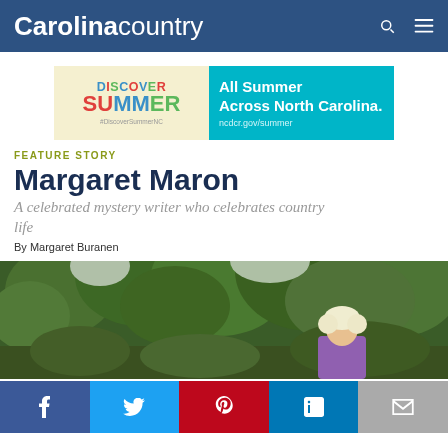Carolina country
[Figure (infographic): Discover Summer - All Summer Across North Carolina. ncdcr.gov/summer advertisement banner]
FEATURE STORY
Margaret Maron
A celebrated mystery writer who celebrates country life
By Margaret Buranen
[Figure (photo): Outdoor photo showing trees and a person with blonde hair wearing a purple top]
[Figure (infographic): Social sharing buttons: Facebook, Twitter, Pinterest, LinkedIn, Email]